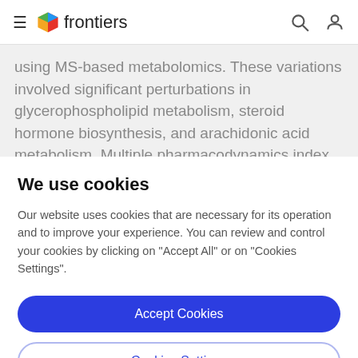frontiers
using MS-based metabolomics. These variations involved significant perturbations in glycerophospholipid metabolism, steroid hormone biosynthesis, and arachidonic acid metabolism. Multiple pharmacodynamics index evaluation, relatively
We use cookies
Our website uses cookies that are necessary for its operation and to improve your experience. You can review and control your cookies by clicking on "Accept All" or on "Cookies Settings".
Accept Cookies
Cookies Settings